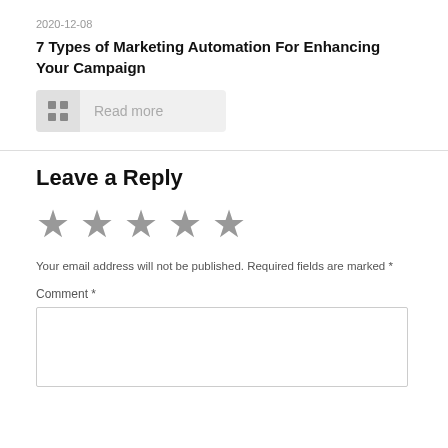2020-12-08
7 Types of Marketing Automation For Enhancing Your Campaign
Read more
Leave a Reply
[Figure (other): Five star rating icons (all grey/unselected)]
Your email address will not be published. Required fields are marked *
Comment *